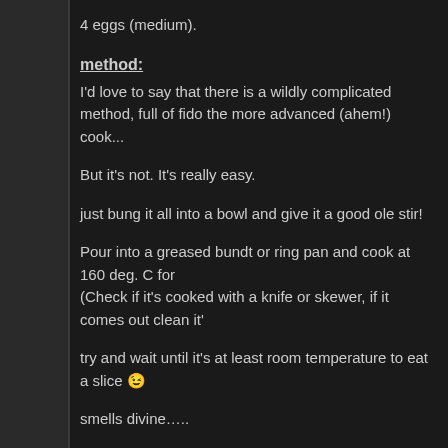4 eggs (medium).
method:
I'd love to say that there is a wildly complicated method, full of fido the more advanced (ahem!) cook...
But it's not. It's really easy.
just bung it all into a bowl and give it a good ole stir!
Pour into a greased bundt or ring pan and cook at 160 deg. C for (Check if it's cooked with a knife or skewer, if it comes out clean it'
try and wait until it's at least room temperature to eat a slice 😉
smells divine…..
Share this:
Twitter  Facebook  Pinterest